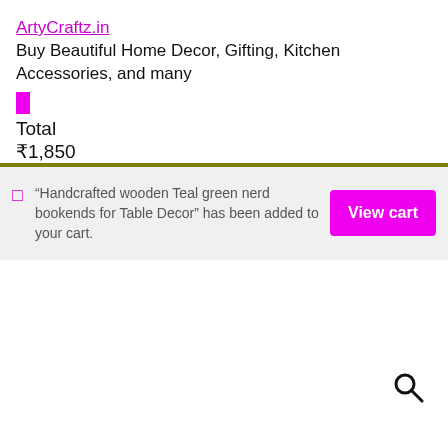ArtyCraftz.in
Buy Beautiful Home Decor, Gifting, Kitchen Accessories, and many
Total
₹1,850
“Handcrafted wooden Teal green nerd bookends for Table Decor” has been added to your cart.